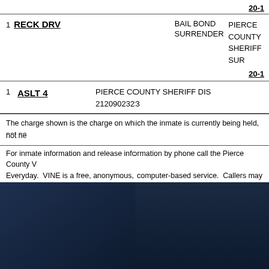20-1
| Count | Charge | Bail Type | Agency/Case |
| --- | --- | --- | --- |
| 1 | RECK DRV | BAIL BOND SURRENDER | PIERCE COUNTY SHERIFF SUR
20-1 |
| 1 | ASLT 4 |  | PIERCE COUNTY SHERIFF DIS
2120902323 |
The charge shown is the charge on which the inmate is currently being held, not ne
For inmate information and release information by phone call the Pierce County V Everyday.  VINE is a free, anonymous, computer-based service.  Callers may choo If you have questions about VINE, or need assistance registering with the VINE se solely on the VINE service for your protection.  If you feel that you may be at risk
VINE is a trademark of Interactive Systems, LLC.